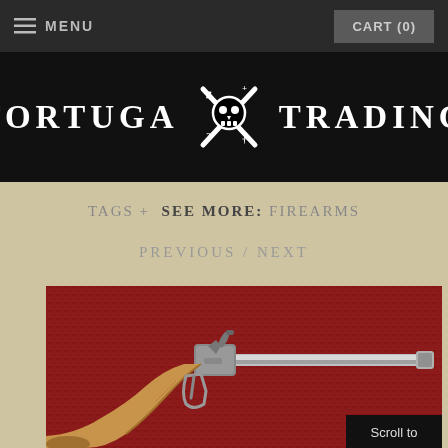MENU | CART (0)
TORTUGA TRADING
TAGS + SEE MORE: FIREARMS
PREVIOUS / NEXT
[Figure (photo): Antique flintlock pistol with wooden stock on red velvet background]
Scroll to